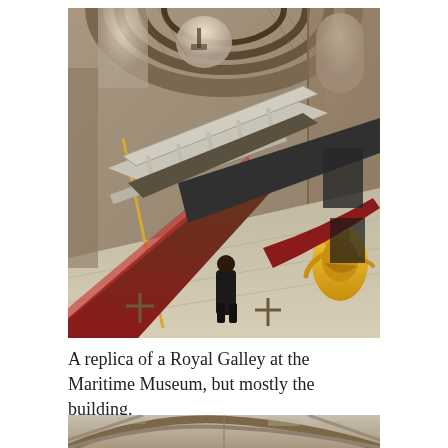[Figure (photo): Interior of a large brick-vaulted building (Maritime Museum) displaying a replica of a Royal Galley. The ornate ship with gold figurehead and decorative silver railing is seen from above, with arched stone ceilings and tall arched windows letting in light. A visitor in dark clothing stands near the hull.]
A replica of a Royal Galley at the Maritime Museum, but mostly the building.
[Figure (photo): Partial view of the stone vaulted ceiling and brick arches of the Maritime Museum, cropped at the bottom of the page.]